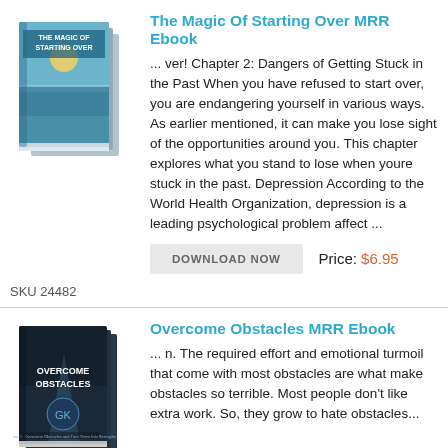The Magic Of Starting Over MRR Ebook
[Figure (illustration): Book cover for 'The Magic Of Starting Over' showing a beach/sunset scene, stacked books]
... ver! Chapter 2: Dangers of Getting Stuck in the Past When you have refused to start over, you are endangering yourself in various ways. As earlier mentioned, it can make you lose sight of the opportunities around you. This chapter explores what you stand to lose when youre stuck in the past. Depression According to the World Health Organization, depression is a leading psychological problem affect ...
DOWNLOAD NOW
Price: $6.95
SKU 24482
Overcome Obstacles MRR Ebook
[Figure (illustration): Book cover for 'Overcome Obstacles' showing a dark themed book cover]
... n. The required effort and emotional turmoil that come with most obstacles are what make obstacles so terrible. Most people don't like extra work. So, they grow to hate obstacles...